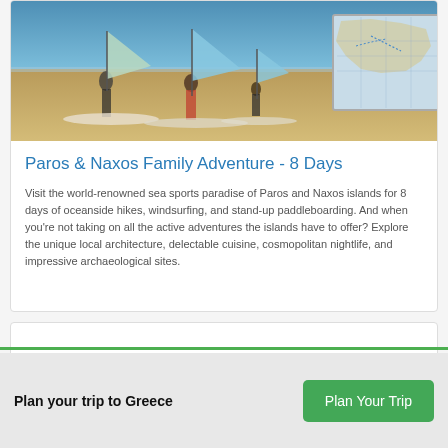[Figure (photo): Beach scene with windsurfers on sandy shore, blue ocean in background, with a small map inset in the top right corner showing Greek islands location]
Paros & Naxos Family Adventure - 8 Days
Visit the world-renowned sea sports paradise of Paros and Naxos islands for 8 days of oceanside hikes, windsurfing, and stand-up paddleboarding. And when you're not taking on all the active adventures the islands have to offer? Explore the unique local architecture, delectable cuisine, cosmopolitan nightlife, and impressive archaeological sites.
Plan your trip to Greece
Plan Your Trip